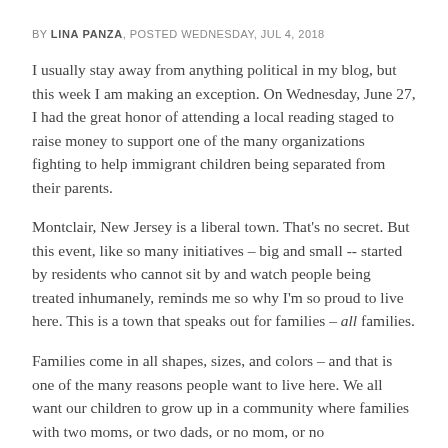BY LINA PANZA, POSTED WEDNESDAY, JUL 4, 2018
I usually stay away from anything political in my blog, but this week I am making an exception. On Wednesday, June 27, I had the great honor of attending a local reading staged to raise money to support one of the many organizations fighting to help immigrant children being separated from their parents.
Montclair, New Jersey is a liberal town. That's no secret. But this event, like so many initiatives – big and small -- started by residents who cannot sit by and watch people being treated inhumanely, reminds me so why I'm so proud to live here. This is a town that speaks out for families – all families.
Families come in all shapes, sizes, and colors – and that is one of the many reasons people want to live here. We all want our children to grow up in a community where families with two moms, or two dads, or no mom, or no